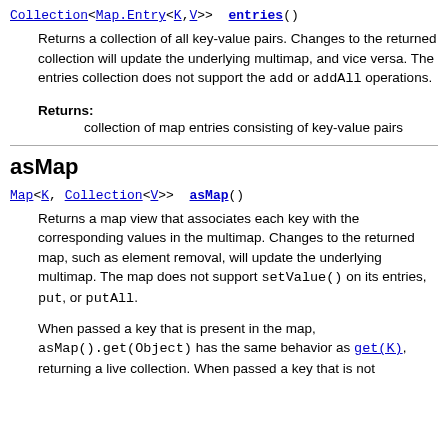Collection<Map.Entry<K,V>> entries()
Returns a collection of all key-value pairs. Changes to the returned collection will update the underlying multimap, and vice versa. The entries collection does not support the add or addAll operations.
Returns:
collection of map entries consisting of key-value pairs
asMap
Map<K, Collection<V>> asMap()
Returns a map view that associates each key with the corresponding values in the multimap. Changes to the returned map, such as element removal, will update the underlying multimap. The map does not support setValue() on its entries, put, or putAll.
When passed a key that is present in the map, asMap().get(Object) has the same behavior as get(K), returning a live collection. When passed a key that is not present, however, asMap().get(Object) returns null.